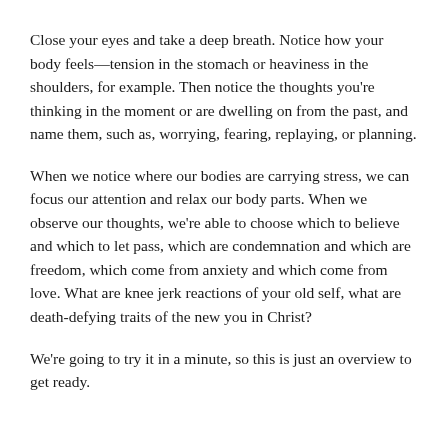Close your eyes and take a deep breath. Notice how your body feels—tension in the stomach or heaviness in the shoulders, for example. Then notice the thoughts you're thinking in the moment or are dwelling on from the past, and name them, such as, worrying, fearing, replaying, or planning.
When we notice where our bodies are carrying stress, we can focus our attention and relax our body parts. When we observe our thoughts, we're able to choose which to believe and which to let pass, which are condemnation and which are freedom, which come from anxiety and which come from love. What are knee jerk reactions of your old self, what are death-defying traits of the new you in Christ?
We're going to try it in a minute, so this is just an overview to get ready.